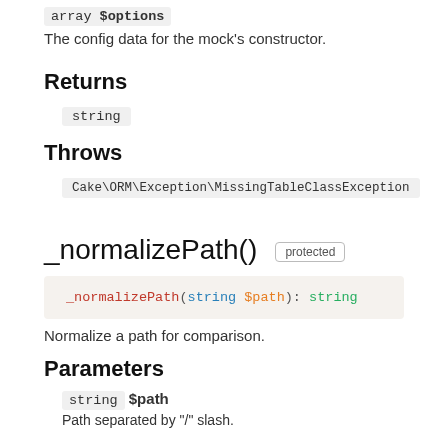array $options
The config data for the mock's constructor.
Returns
string
Throws
Cake\ORM\Exception\MissingTableClassException
_normalizePath()  protected
_normalizePath(string $path): string
Normalize a path for comparison.
Parameters
string $path
Path separated by "/" slash.